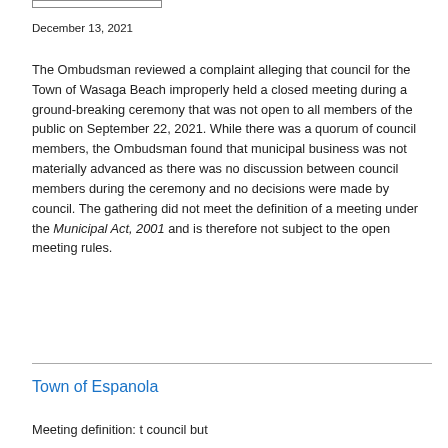December 13, 2021
The Ombudsman reviewed a complaint alleging that council for the Town of Wasaga Beach improperly held a closed meeting during a ground-breaking ceremony that was not open to all members of the public on September 22, 2021. While there was a quorum of council members, the Ombudsman found that municipal business was not materially advanced as there was no discussion between council members during the ceremony and no decisions were made by council. The gathering did not meet the definition of a meeting under the Municipal Act, 2001 and is therefore not subject to the open meeting rules.
Town of Espanola
Meeting definition: t council but...